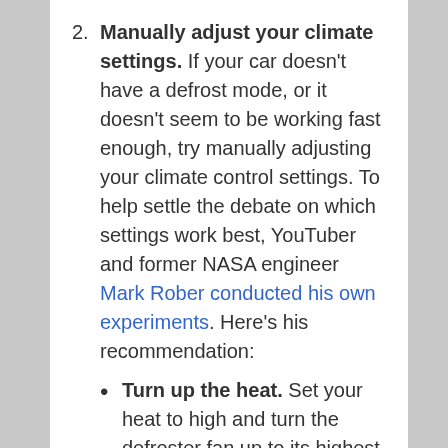2. Manually adjust your climate settings. If your car doesn't have a defrost mode, or it doesn't seem to be working fast enough, try manually adjusting your climate control settings. To help settle the debate on which settings work best, YouTuber and former NASA engineer Mark Rober conducted his own experiments. Here's his recommendation:
Turn up the heat. Set your heat to high and turn the defroster fan up to its highest speed.
Turn on the A/C. It may seem counterintuitive to turn the heat on high and turn on the air conditioning. But your air conditioning system will